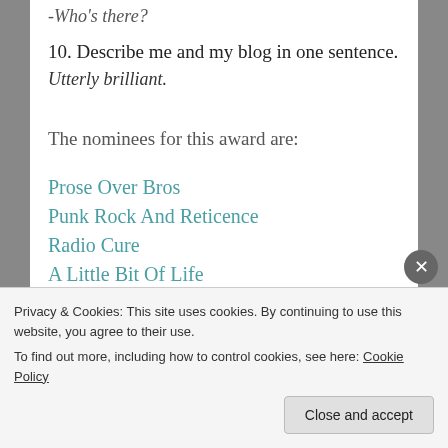-Who's there?
10. Describe me and my blog in one sentence.
Utterly brilliant.
The nominees for this award are:
Prose Over Bros
Punk Rock And Reticence
Radio Cure
A Little Bit Of Life
Anishok
Arkajyotipatra's Blog
Banjarannn
Privacy & Cookies: This site uses cookies. By continuing to use this website, you agree to their use. To find out more, including how to control cookies, see here: Cookie Policy